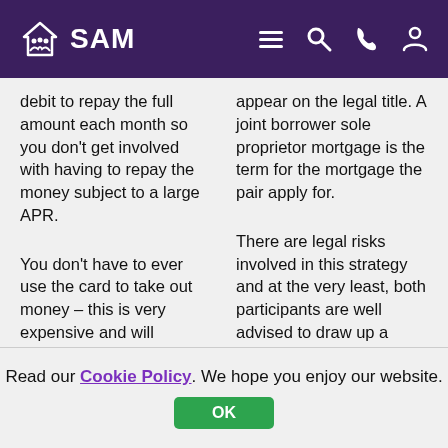SAM
debit to repay the full amount each month so you don't get involved with having to repay the money subject to a large APR.
You don't have to ever use the card to take out money – this is very expensive and will actually hurt your credit score – and each time you make a repayment, your credit score will incrementally
appear on the legal title. A joint borrower sole proprietor mortgage is the term for the mortgage the pair apply for.
There are legal risks involved in this strategy and at the very least, both participants are well advised to draw up a deed of trust to protect their individual interests.
If you wish to find out
Read our Cookie Policy. We hope you enjoy our website.